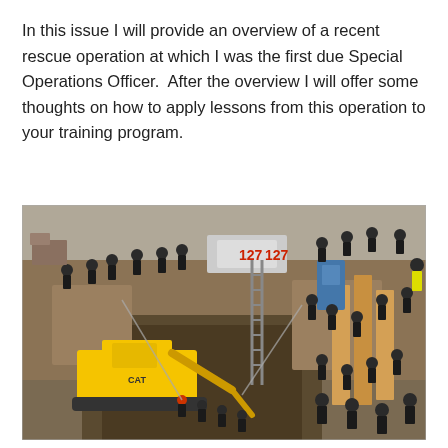In this issue I will provide an overview of a recent rescue operation at which I was the first due Special Operations Officer.  After the overview I will offer some thoughts on how to apply lessons from this operation to your training program.
[Figure (photo): Aerial view of a trench rescue operation at a construction site. Numerous firefighters in black gear with yellow reflective stripes surround a deep excavation pit. A yellow CAT excavator is in the trench. A ladder is visible in the pit. A fire department aerial platform truck numbered 127 is positioned above. Workers are actively performing a rescue. Wooden shoring boards are visible on the right. A blue portable toilet and construction materials are in the background.]